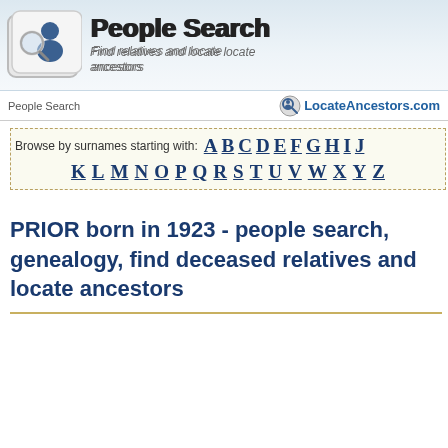[Figure (logo): People Search logo with keyboard key icon showing a person with magnifying glass]
People Search
Find relatives and locate ancestors
People Search   LocateAncestors.com
Browse by surnames starting with: A B C D E F G H I J K L M N O P Q R S T U V W X Y Z
PRIOR born in 1923 - people search, genealogy, find deceased relatives and locate ancestors